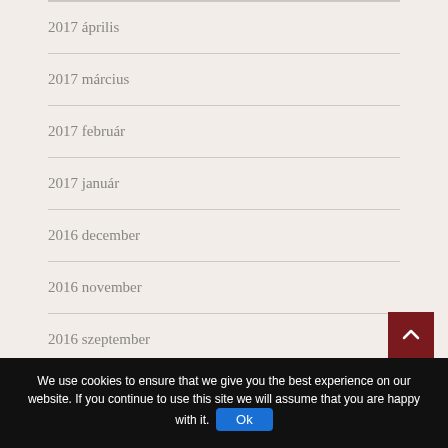2017 április
2017 március
2017 február
2017 január
2016 december
2016 november
2016 szeptember
We use cookies to ensure that we give you the best experience on our website. If you continue to use this site we will assume that you are happy with it.  Ok